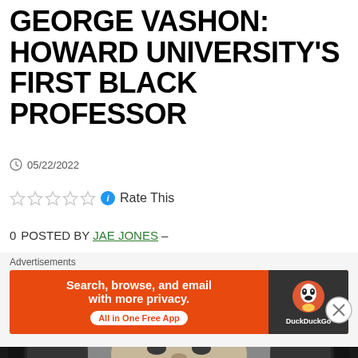GEORGE VASHON: HOWARD UNIVERSITY'S FIRST BLACK PROFESSOR
05/22/2022
Rate This
0 POSTED BY JAE JONES –
[Figure (photo): Black and white oval-framed portrait photograph of George Vashon]
Advertisements
[Figure (other): DuckDuckGo advertisement banner: Search, browse, and email with more privacy. All in One Free App]